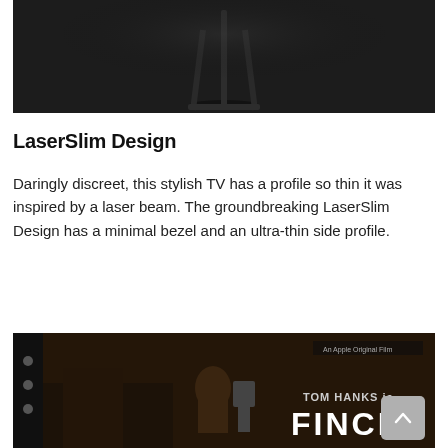[Figure (photo): Dark background product photo showing a slim TV with a narrow stand silhouette on a dark surface, top portion cut off]
LaserSlim Design
Daringly discreet, this stylish TV has a profile so thin it was inspired by a laser beam. The groundbreaking LaserSlim Design has a minimal bezel and an ultra-thin side profile.
[Figure (screenshot): Dark screenshot showing a TV display with the movie 'Tom Hanks in Finch' on Apple TV+, with a sidebar navigation on the left]